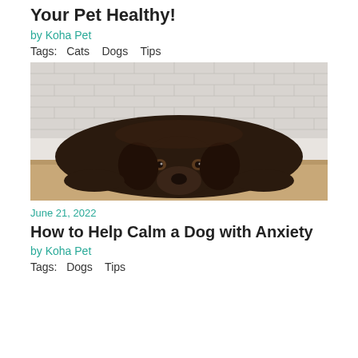Your Pet Healthy!
by Koha Pet
Tags:   Cats   Dogs   Tips
[Figure (photo): A chocolate labrador retriever lying flat on the floor with its chin down, looking up with sad eyes, against a white brick wall background with a wooden floor]
June 21, 2022
How to Help Calm a Dog with Anxiety
by Koha Pet
Tags:   Dogs   Tips